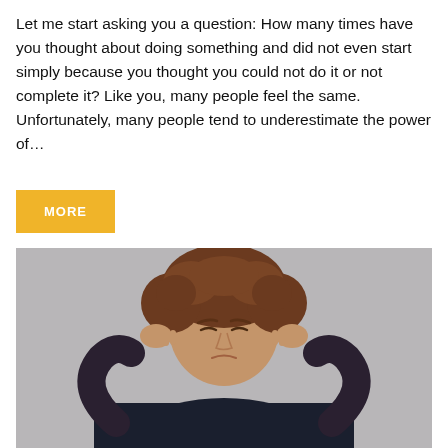Let me start asking you a question: How many times have you thought about doing something and did not even start simply because you thought you could not do it or not complete it? Like you, many people feel the same. Unfortunately, many people tend to underestimate the power of...
MORE
[Figure (photo): A young man with curly brown hair pressing his fingers to his temples, eyes closed, appearing stressed or deep in thought, against a light gray background.]